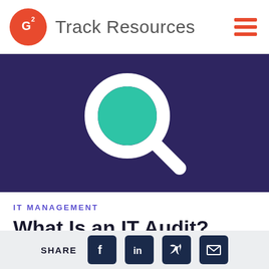Track Resources
[Figure (illustration): Dark purple banner with a large white magnifying glass icon featuring a teal/green circle lens, centered on the banner.]
IT MANAGEMENT
What Is an IT Audit?
SHARE [Facebook] [LinkedIn] [Twitter] [Email]